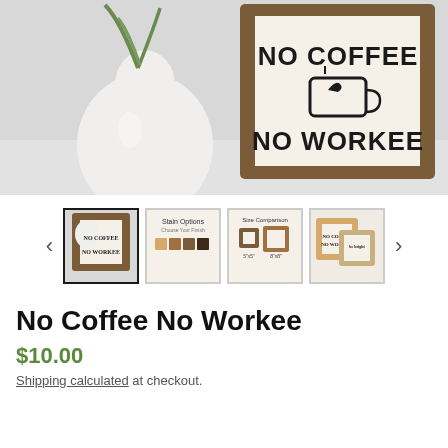[Figure (photo): Product photo of a 'No Coffee No Workee' wooden framed sign next to a white round vase with green plant. Sign has dark wood frame with cream background and black text reading NO COFFEE with coffee cup icon and NO WORKEE.]
[Figure (photo): Thumbnail image carousel with 4 thumbnail images and left/right navigation arrows. First thumbnail is selected (active border) showing main product. Second shows frame color options. Third shows size comparison options. Fourth shows multiple size/frame options displayed together.]
No Coffee No Workee
$10.00
Shipping calculated at checkout.